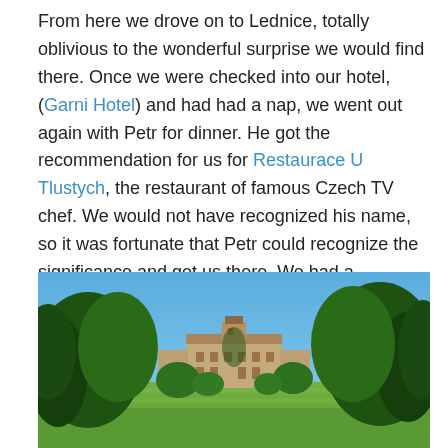From here we drove on to Lednice, totally oblivious to the wonderful surprise we would find there. Once we were checked into our hotel, (Garni Hotel) and had had a nap, we went out again with Petr for dinner. He got the recommendation for us for Restaurace U Tlustych, the restaurant of famous Czech TV chef. We would not have recognized his name, so it was fortunate that Petr could recognize the significance and get us there. We had a wonderful dinner, accompanied for me by local Moravian chardonnay.
[Figure (photo): Outdoor photo of Lednice castle viewed from a large open lawn, flanked by tall green trees on either side under a clear blue sky.]